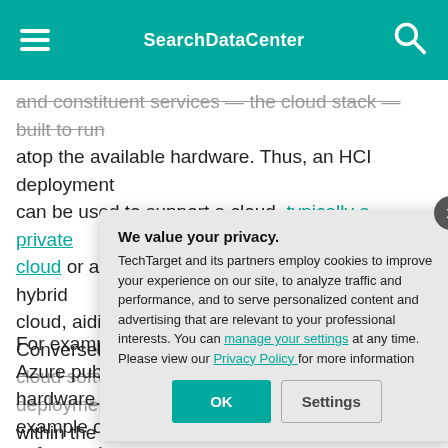SearchDataCenter
and constituent services — the cloud stack — built to run atop the available hardware. Thus, an HCI deployment can be used to support a cloud, typically a private cloud or a private cloud integrated as part of a hybrid cloud, aiding in digital transformation. Conversely, a cloud software stack will run on an HCI deployment within the data c[enter]
For example, Az[ure Stack] Azure public clo[ud] hardware. Simila[rly] example of an H[CI] software that ca[n be deployed] as a private clou[d and integrated] into public cloud[s like] AWS.
We value your privacy.
TechTarget and its partners employ cookies to improve your experience on our site, to analyze traffic and performance, and to serve personalized content and advertising that are relevant to your professional interests. You can manage your settings at any time. Please view our Privacy Policy for more information